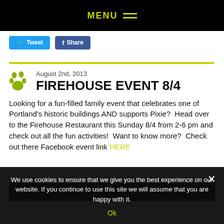MENU
[Figure (screenshot): Tweet and Share social media buttons]
August 2nd, 2013
FIREHOUSE EVENT 8/4
Looking for a fun-filled family event that celebrates one of Portland's historic buildings AND supports Pixie? Head over to the Firehouse Restaurant this Sunday 8/4 from 2-6 pm and check out all the fun activities! Want to know more? Check out there Facebook event link HERE
[Figure (photo): Decorative banner image for Firehouse event]
We use cookies to ensure that we give you the best experience on our website. If you continue to use this site we will assume that you are happy with it.
Ok